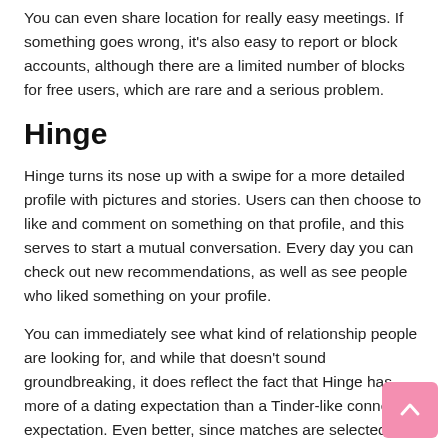You can even share location for really easy meetings. If something goes wrong, it's also easy to report or block accounts, although there are a limited number of blocks for free users, which are rare and a serious problem.
Hinge
Hinge turns its nose up with a swipe for a more detailed profile with pictures and stories. Users can then choose to like and comment on something on that profile, and this serves to start a mutual conversation. Every day you can check out new recommendations, as well as see people who liked something on your profile.
You can immediately see what kind of relationship people are looking for, and while that doesn't sound groundbreaking, it does reflect the fact that Hinge has more of a dating expectation than a Tinder-like connection expectation. Even better, since matches are selected based on their answers to the questions, it's a little harder to come across someone who is just looking to submit inappropriate images, and that's a big plus in our book.